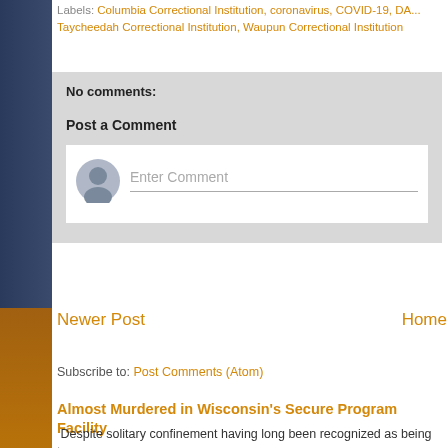Labels: Columbia Correctional Institution, coronavirus, COVID-19, DA..., Taycheedah Correctional Institution, Waupun Correctional Institution
No comments:
Post a Comment
[Figure (screenshot): Comment input area with avatar icon and 'Enter Comment' placeholder text field]
Newer Post
Home
Subscribe to: Post Comments (Atom)
Almost Murdered in Wisconsin's Secure Program Facility
Despite solitary confinement having long been recognized as being to... former U.S. President Obama, Justices of ou...